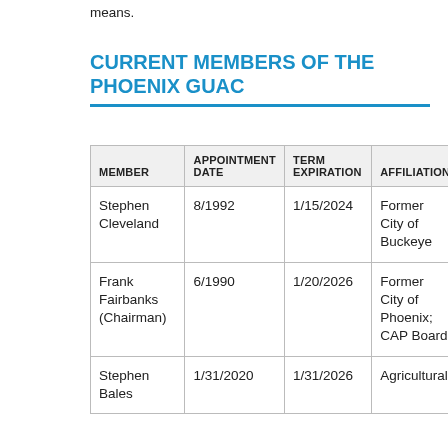means.
CURRENT MEMBERS OF THE PHOENIX GUAC
| MEMBER | APPOINTMENT DATE | TERM EXPIRATION | AFFILIATION |
| --- | --- | --- | --- |
| Stephen Cleveland | 8/1992 | 1/15/2024 | Former City of Buckeye |
| Frank Fairbanks (Chairman) | 6/1990 | 1/20/2026 | Former City of Phoenix; CAP Board |
| Stephen Bales | 1/31/2020 | 1/31/2026 | Agricultural |